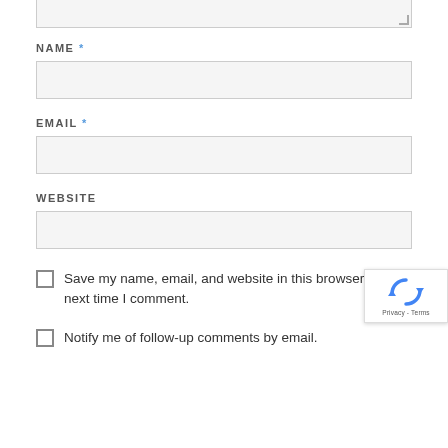[Figure (screenshot): Top portion of a textarea input field (truncated at top of page)]
NAME *
[Figure (screenshot): Name text input field (empty, light gray background)]
EMAIL *
[Figure (screenshot): Email text input field (empty, light gray background)]
WEBSITE
[Figure (screenshot): Website text input field (empty, light gray background)]
Save my name, email, and website in this browser for the next time I comment.
[Figure (logo): Google reCAPTCHA badge with recycle-arrow icon and Privacy - Terms text]
Notify me of follow-up comments by email.